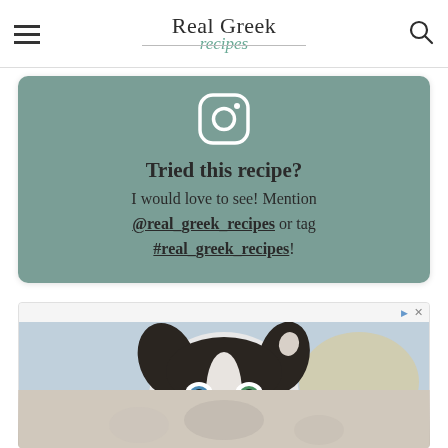Real Greek recipes
[Figure (infographic): Instagram call-to-action card on sage green background with Instagram icon. Text: 'Tried this recipe? I would love to see! Mention @real_greek_recipes or tag #real_greek_recipes!']
[Figure (photo): Advertisement showing a border collie dog with heterochromia (one blue eye, one green eye) looking at the camera against a light background.]